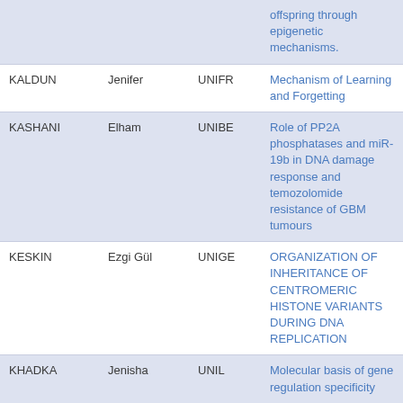|  |  |  | offspring through epigenetic mechanisms. |
| KALDUN | Jenifer | UNIFR | Mechanism of Learning and Forgetting |
| KASHANI | Elham | UNIBE | Role of PP2A phosphatases and miR-19b in DNA damage response and temozolomide resistance of GBM tumours |
| KESKIN | Ezgi Gül | UNIGE | ORGANIZATION OF INHERITANCE OF CENTROMERIC HISTONE VARIANTS DURING DNA REPLICATION |
| KHADKA | Jenisha | UNIL | Molecular basis of gene regulation specificity |
| KIENER | Sarah | UNIBE | Genetic analysis of animal |